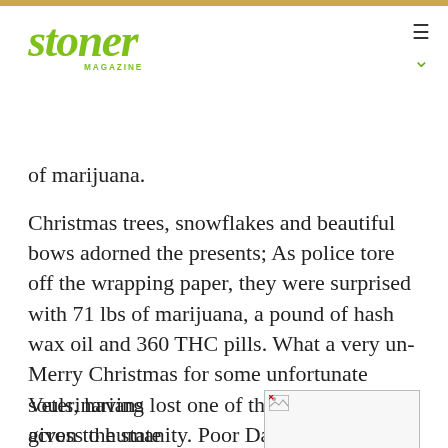stoner MAGAZINE
of marijuana.
Christmas trees, snowflakes and beautiful bows adorned the presents; As police tore off the wrapping paper, they were surprised with 71 lbs of marijuana, a pound of hash wax oil and 360 THC pills. What a very un-Merry Christmas for some unfortunate souls, having lost one of the greatest gifts given to humanity. Poor Daniel Yates, if convicted, is facing a maximum of 16 years in prison and up to $30,000 in fines.
POOCHES & POT
Veterinarians across the state
[Figure (photo): Small image placeholder with broken image icon in bottom content area]